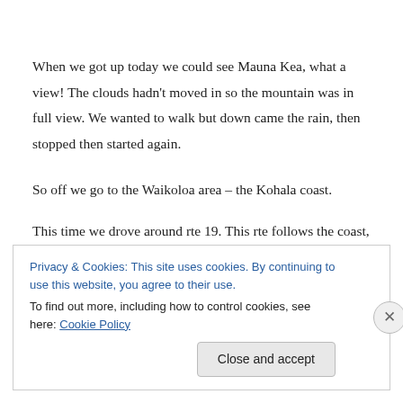When we got up today we could see Mauna Kea, what a view! The clouds hadn't moved in so the mountain was in full view. We wanted to walk but down came the rain, then stopped then started again.
So off we go to the Waikoloa area – the Kohala coast.
This time we drove around rte 19. This rte follows the coast, we saw rainbows, cattle ranches, the terrain is now more like a desert. We stopped in Honoloa a really nice town with some great shops. We also went to Waiipi'o lookout. This was 10 miles off rte 19, on rte 240 but worth the drive. From the lookout you
Privacy & Cookies: This site uses cookies. By continuing to use this website, you agree to their use.
To find out more, including how to control cookies, see here: Cookie Policy